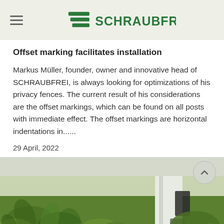SCHRAUBFREI
Offset marking facilitates installation
Markus Müller, founder, owner and innovative head of SCHRAUBFREI, is always looking for optimizations of his privacy fences. The current result of his considerations are the offset markings, which can be found on all posts with immediate effect. The offset markings are horizontal indentations in......
29 April, 2022
[Figure (photo): Photo of green plants/foliage with a white fence post visible, taken from ground level]